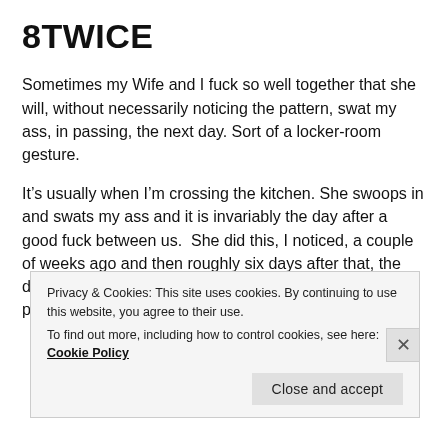8TWICE
Sometimes my Wife and I fuck so well together that she will, without necessarily noticing the pattern, swat my ass, in passing, the next day. Sort of a locker-room gesture.
It’s usually when I’m crossing the kitchen. She swoops in and swats my ass and it is invariably the day after a good fuck between us.  She did this, I noticed, a couple of weeks ago and then roughly six days after that, the day after we’d fucked again,  swatting my ass, in passing, twice. She
Privacy & Cookies: This site uses cookies. By continuing to use this website, you agree to their use.
To find out more, including how to control cookies, see here: Cookie Policy
Close and accept